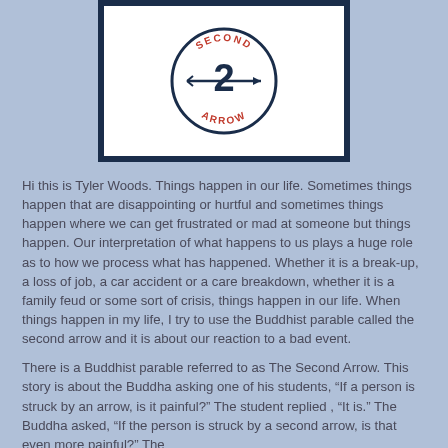[Figure (logo): Second Arrow logo: circular badge with 'SECOND' arched on top in red, 'ARROW' arched on bottom in red, and a large numeral '2' with an arrow through it in navy blue in the center, inside a white box with dark navy border.]
Hi this is Tyler Woods. Things happen in our life. Sometimes things happen that are disappointing or hurtful and sometimes things happen where we can get frustrated or mad at someone but things happen. Our interpretation of what happens to us plays a huge role as to how we process what has happened. Whether it is a break-up, a loss of job, a car accident or a care breakdown, whether it is a family feud or some sort of crisis, things happen in our life. When things happen in my life, I try to use the Buddhist parable called the second arrow and it is about our reaction to a bad event.
There is a Buddhist parable referred to as The Second Arrow. This story is about the Buddha asking one of his students, “If a person is struck by an arrow, is it painful?” The student replied , “It is.” The Buddha asked, “If the person is struck by a second arrow, is that even more painful?” The